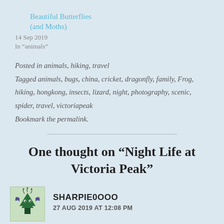Beautiful Butterflies (and Moths)
14 Sep 2019
In “animals”
Posted in animals, hiking, travel
Tagged animals, bugs, china, cricket, dragonfly, family, Frog, hiking, hongkong, insects, lizard, night, photography, scenic, spider, travel, victoriapeak
Bookmark the permalink.
One thought on “Night Life at Victoria Peak”
SHARPIE0OOO
27 AUG 2019 AT 12:08 PM